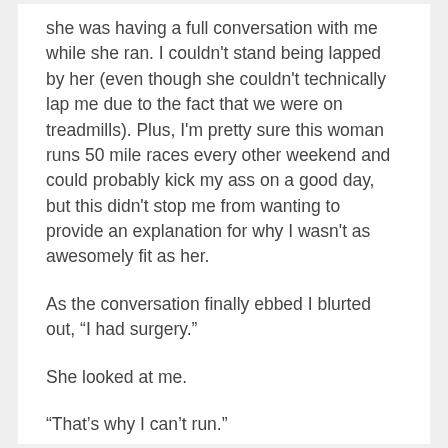she was having a full conversation with me while she ran. I couldn't stand being lapped by her (even though she couldn't technically lap me due to the fact that we were on treadmills). Plus, I'm pretty sure this woman runs 50 mile races every other weekend and could probably kick my ass on a good day, but this didn't stop me from wanting to provide an explanation for why I wasn't as awesomely fit as her.
As the conversation finally ebbed I blurted out, “I had surgery.”
She looked at me.
“That’s why I can’t run.”
“Oh.”